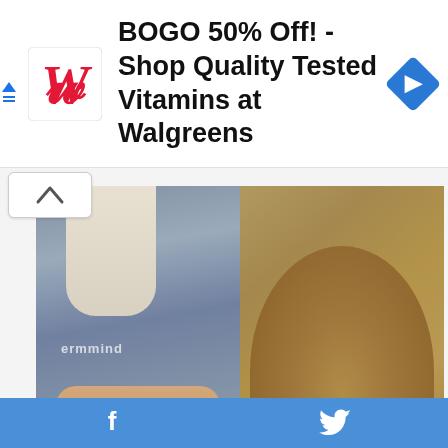[Figure (screenshot): Walgreens advertisement banner with red W logo and blue navigation arrow icon. Text: BOGO 50% Off! - Shop Quality Tested Vitamins at Walgreens]
[Figure (photo): Side-by-side composite photo: left side shows a woman with blonde hair lifting her grey sweater to reveal toned abs; right side shows a wooden spoon heaped with brown spice/powder on a blurred background]
Doctors Stunned: 1 Teaspoon Of This Burns 12 Lbs A Week
POWER KETO GUMMIES
[Figure (photo): Partial photo of a person visible at the bottom of the page]
Facebook share button and Twitter share button on blue bar